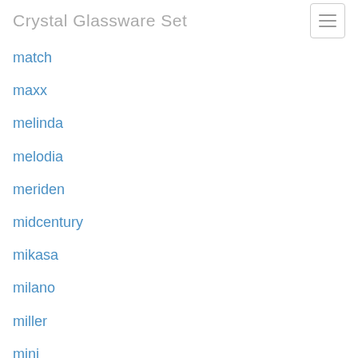Crystal Glassware Set
match
maxx
melinda
melodia
meriden
midcentury
mikasa
milano
miller
mini
mint
minty